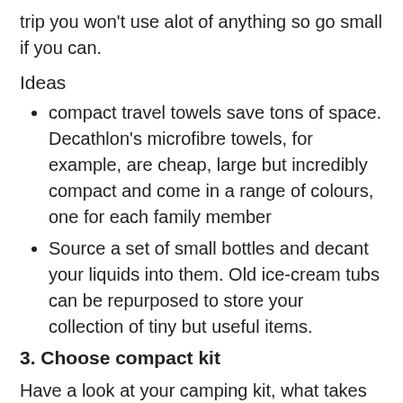trip you won't use alot of anything so go small if you can.
Ideas
compact travel towels save tons of space. Decathlon's microfibre towels, for example, are cheap, large but incredibly compact and come in a range of colours, one for each family member
Source a set of small bottles and decant your liquids into them. Old ice-cream tubs can be repurposed to store your collection of tiny but useful items.
3. Choose compact kit
Have a look at your camping kit, what takes up the most space? Can you source a smaller replacement? There are some fantastic light-weight folding products available for campers and although the best seem to be marketed at hikers